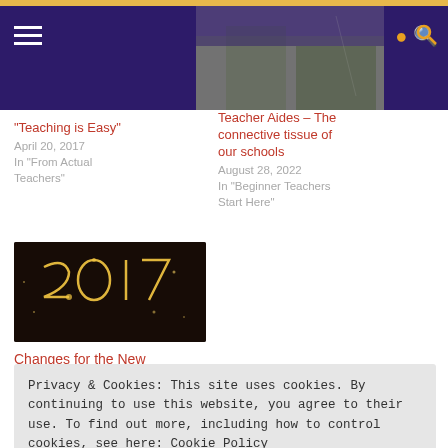Navigation bar with hamburger menu and search icon
[Figure (photo): Header image showing outdoor scene, partially visible behind purple nav bar]
"Teaching is Easy"
April 20, 2017
In "From Actual Teachers"
Teacher Aides – The connective tissue of our schools
August 28, 2022
In "Beginner Teachers Start Here"
[Figure (photo): Dark photo with sparkler writing '2017' against dark background]
Changes for the New
Privacy & Cookies: This site uses cookies. By continuing to use this website, you agree to their use. To find out more, including how to control cookies, see here: Cookie Policy     Close and accept